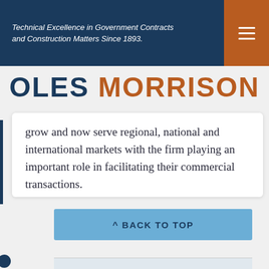Technical Excellence in Government Contracts and Construction Matters Since 1893.
OLES MORRISON
grow and now serve regional, national and international markets with the firm playing an important role in facilitating their commercial transactions.
^ BACK TO TOP